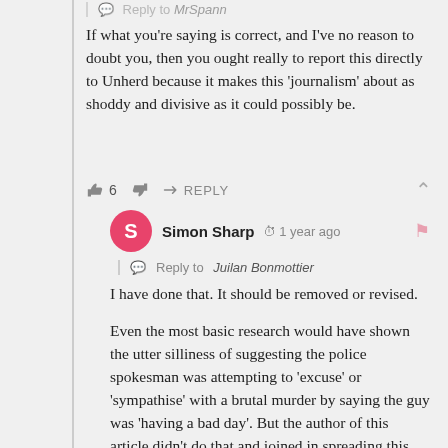If what you’re saying is correct, and I’ve no reason to doubt you, then you ought really to report this directly to Unherd because it makes this ‘journalism’ about as shoddy and divisive as it could possibly be.
👍 6  👎  → REPLY  ∧
Simon Sharp  🕐 1 year ago
Reply to Juilan Bonmottier
I have done that. It should be removed or revised.
Even the most basic research would have shown the utter silliness of suggesting the police spokesman was attempting to ‘excuse’ or ‘sympathise’ with a brutal murder by saying the guy was ‘having a bad day’. But the author of this article didn’t do that and joined in spreading this misinformation (because it fitted the narrative.)